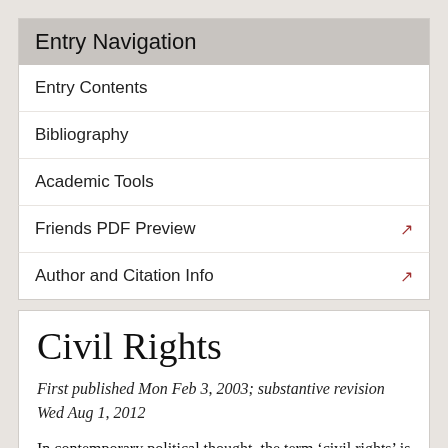Entry Navigation
Entry Contents
Bibliography
Academic Tools
Friends PDF Preview
Author and Citation Info
Civil Rights
First published Mon Feb 3, 2003; substantive revision Wed Aug 1, 2012
In contemporary political thought, the term ‘civil rights’ is indissolubly linked to the struggle for equality of American blacks during the 1950s and 60s. The aim of that struggle was to secure the status of equal citizenship